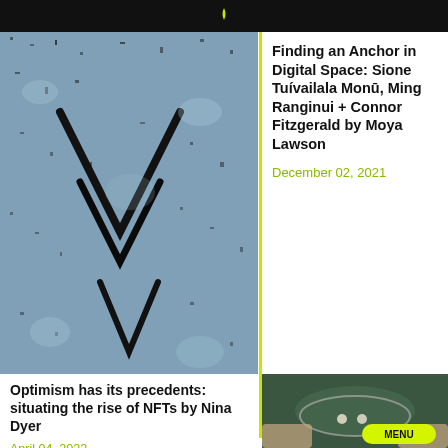[Figure (photo): Close-up photo of lichen-covered rock surface in blue-grey tones with dark cracks forming a V or arrow shape]
Finding an Anchor in Digital Space: Sione Tuívailala Monū, Ming Ranginui + Connor Fitzgerald by Moya Lawson
December 02, 2021
Optimism has its precedents: situating the rise of NFTs by Nina Dyer
April 04, 2022
[Figure (photo): Close-up photo of pearls or small round objects on a tray held in someone's hands]